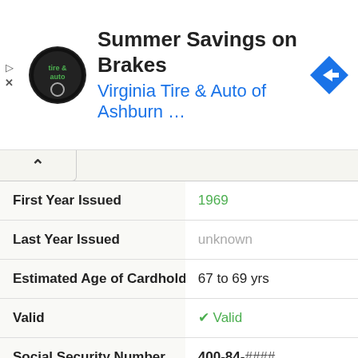[Figure (screenshot): Advertisement banner for Virginia Tire & Auto of Ashburn with logo and navigation icon]
| Field | Value |
| --- | --- |
| First Year Issued | 1969 |
| Last Year Issued | unknown |
| Estimated Age of Cardholder | 67 to 69 yrs |
| Valid | ✓ Valid |
| Social Security Number | 400-84-#### |
| First Year Issued | 1970 |
| Last Year Issued | unknown |
| Estimated Age of Cardholder | 66 to 68 yrs |
| Valid | ✓ Valid |